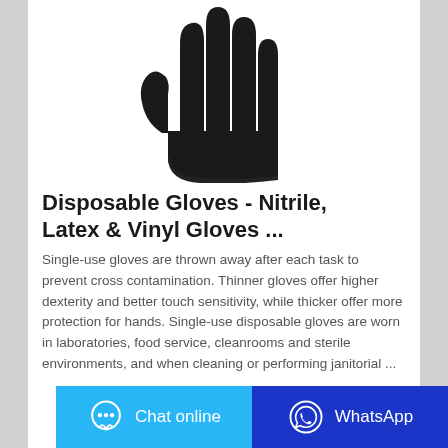[Figure (photo): A black nitrile/latex disposable glove shown palm-forward against a white background]
Disposable Gloves - Nitrile, Latex & Vinyl Gloves ...
Single-use gloves are thrown away after each task to prevent cross contamination. Thinner gloves offer higher dexterity and better touch sensitivity, while thicker offer more protection for hands. Single-use disposable gloves are worn in laboratories, food service, cleanrooms and sterile environments, and when cleaning or performing janitorial ...
Chat online
WhatsApp